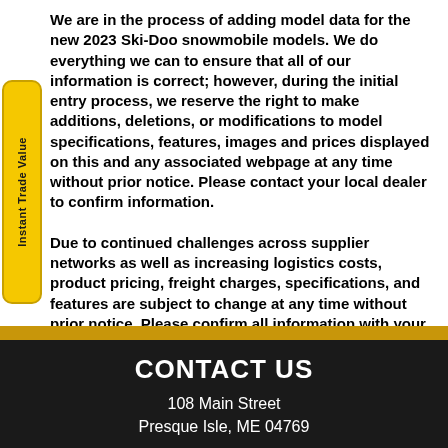We are in the process of adding model data for the new 2023 Ski-Doo snowmobile models. We do everything we can to ensure that all of our information is correct; however, during the initial entry process, we reserve the right to make additions, deletions, or modifications to model specifications, features, images and prices displayed on this and any associated webpage at any time without prior notice. Please contact your local dealer to confirm information.

Due to continued challenges across supplier networks as well as increasing logistics costs, product pricing, freight charges, specifications, and features are subject to change at any time without prior notice. Please confirm all information with your local dealership.
CONTACT US
108 Main Street
Preesque Isle, ME 04769